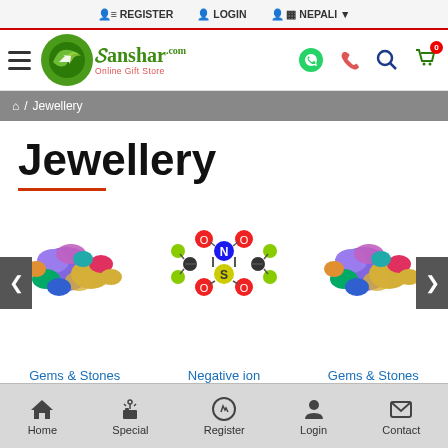REGISTER  LOGIN  NEPALI
[Figure (logo): Sanshar Online Gift Store logo with green circular emblem and navigation icons (WhatsApp, phone, search, cart)]
Home / Jewellery
Jewellery
[Figure (photo): Product carousel showing three items: Gems & Stones (colorful gemstones), Negative ion (molecular structure illustration), Gems & Stones (colorful gemstones again). Left and right navigation arrows on carousel.]
Gems & Stones   Negative ion   Gems & Stones
Home  Special  Register  Login  Contact